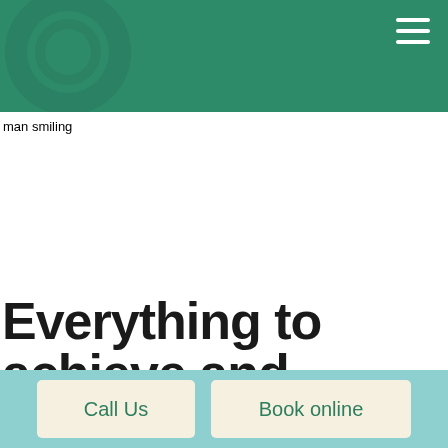Navigation header with logo and hamburger menu
[Figure (photo): man smiling — broken image placeholder shown]
Everything to achieve and
Call Us | Book online